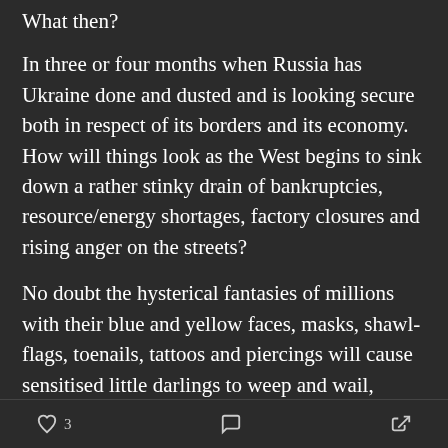What then?
In three or four months when Russia has Ukraine done and dusted and is looking secure both in respect of its borders and its economy. How will things look as the West begins to sink down a rather stinky drain of bankruptcies, resource/energy shortages, factory closures and rising anger on the streets?
No doubt the hysterical fantasies of millions with their blue and yellow faces, masks, shawl-flags, toenails, tattoos and piercings will cause sensitised little darlings to weep and wail, donating their even more meagre savings than ever to Kiev and will think they've achieved
♡ 3  [comment icon]  [share icon]